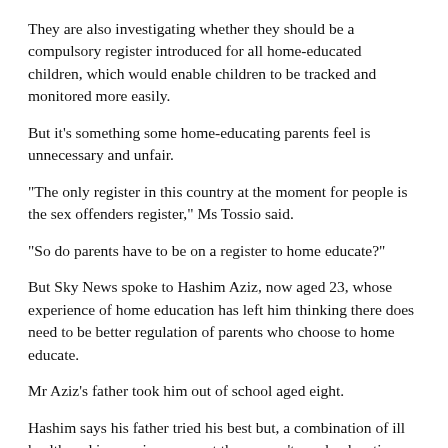They are also investigating whether they should be a compulsory register introduced for all home-educated children, which would enable children to be tracked and monitored more easily.
But it's something some home-educating parents feel is unnecessary and unfair.
“The only register in this country at the moment for people is the sex offenders register,” Ms Tossio said.
“So do parents have to be on a register to home educate?”
But Sky News spoke to Hashim Aziz, now aged 23, whose experience of home education has left him thinking there does need to be better regulation of parents who choose to home educate.
Mr Aziz’s father took him out of school aged eight.
Hashim says his father tried his best but, a combination of ill health and inexperience meant there wasn’t much education.
“We basically sat in our rooms, with the books and were expected to get on with it and teach ourselves,” he said.
“As you can imagine for a kid who is quite sheltered at that point